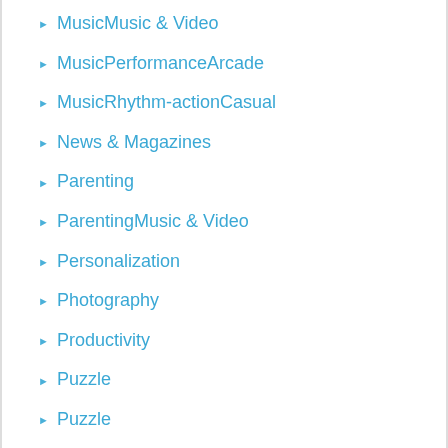MusicMusic & Video
MusicPerformanceArcade
MusicRhythm-actionCasual
News & Magazines
Parenting
ParentingMusic & Video
Personalization
Photography
Productivity
Puzzle
Puzzle
PuzzleAction & Adventure
PuzzleArcade